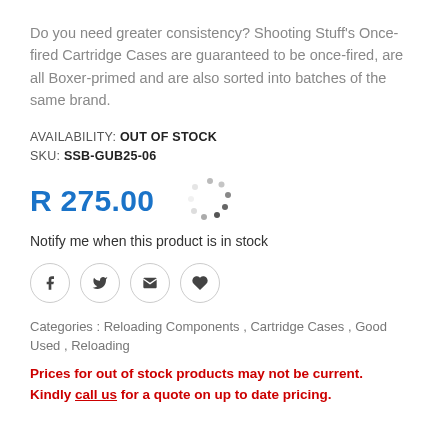Do you need greater consistency? Shooting Stuff's Once-fired Cartridge Cases are guaranteed to be once-fired, are all Boxer-primed and are also sorted into batches of the same brand.
AVAILABILITY: OUT OF STOCK
SKU: SSB-GUB25-06
R 275.00
[Figure (other): Loading spinner graphic]
Notify me when this product is in stock
Social share buttons: Facebook, Twitter, Email, Wishlist
Categories : Reloading Components , Cartridge Cases , Good Used , Reloading
Prices for out of stock products may not be current. Kindly call us for a quote on up to date pricing.